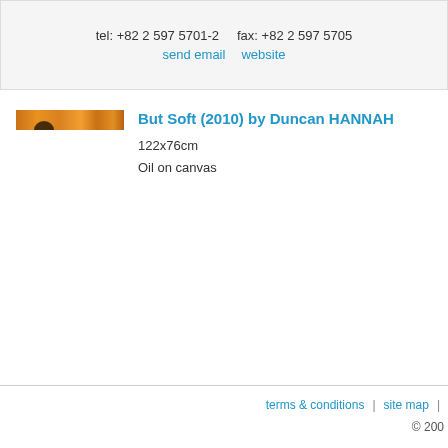tel: +82 2 597 5701-2    fax: +82 2 597 5705
send email   website
[Figure (photo): Cropped horizontal strip of an artwork thumbnail showing warm orange and brown tones with a partial dark circular shape — thumbnail of 'But Soft (2010) by Duncan HANNAH']
But Soft (2010) by Duncan HANNAH
122x76cm
Oil on canvas
terms & conditions  |  site map  |  © 200...